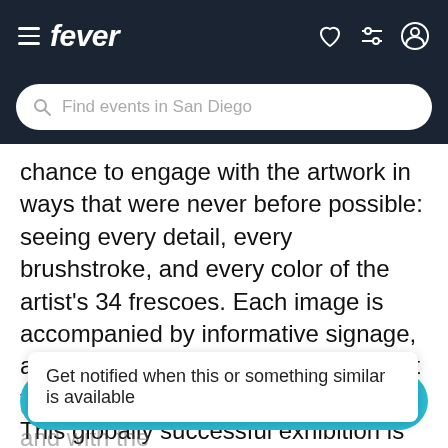fever
Find events in San Diego
chance to engage with the artwork in ways that were never before possible: seeing every detail, every brushstroke, and every color of the artist's 34 frescoes. Each image is accompanied by informative signage, and audio guides are available to rent for an even more in-depth experience. This globally successful exhibition is an innovative and unique interpretation of Michelangelo's timeless masterpiece. Whether visitors have already been to th artwork up close, at their wn pace, and with the
Get notified when this or something similar is available
GET NOTIFIED